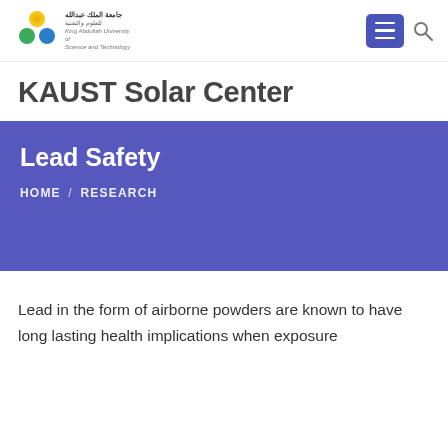KAUST Solar Center — King Abdullah University of Science and Technology
KAUST Solar Center
Lead Safety
HOME / RESEARCH
Lead in the form of airborne powders are known to have long lasting health implications when exposure